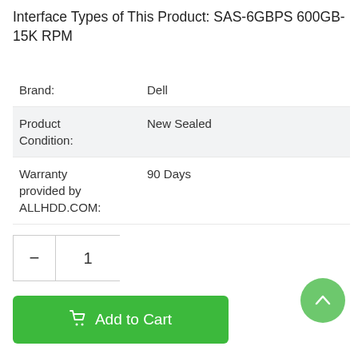Interface Types of This Product: SAS-6GBPS 600GB-15K RPM
| Property | Value |
| --- | --- |
| Brand: | Dell |
| Product Condition: | New Sealed |
| Warranty provided by ALLHDD.COM: | 90 Days |
Quantity: 1
Add to Cart